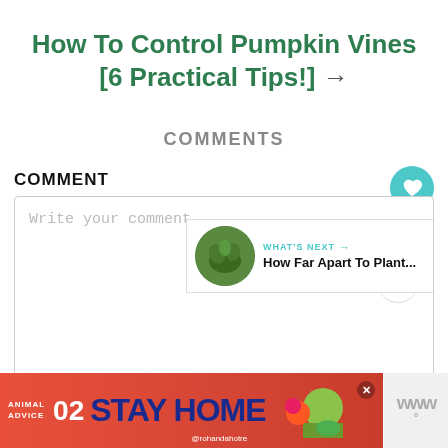How To Control Pumpkin Vines [6 Practical Tips!] →
COMMENTS
COMMENT
Write your comment...
2
WHAT'S NEXT → How Far Apart To Plant...
[Figure (infographic): Advertisement banner: ANIMAL ADVICE 02 STAY HOME @rohandahotre with illustrated characters]
www°